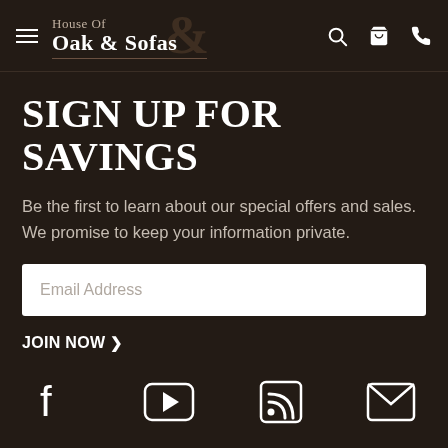House Of Oak & Sofas
SIGN UP FOR SAVINGS
Be the first to learn about our special offers and sales. We promise to keep your information private.
Email Address
JOIN NOW >
[Figure (infographic): Social media icons row: Facebook, YouTube, RSS feed, Email/envelope icons]